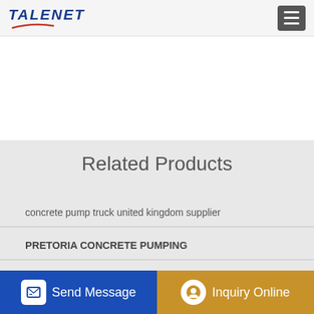TALENET
Related Products
concrete pump truck united kingdom supplier
PRETORIA CONCRETE PUMPING
Hot Sale Sermac Ihi Niigata Kyokuto Concrete Pump Spare
Good sale IZM750 used portable concrete mixer for sale in
Send Message
Inquiry Online